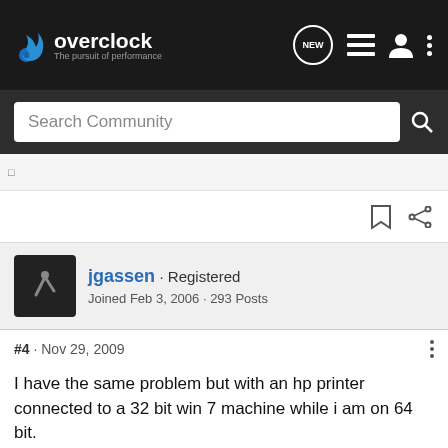[Figure (screenshot): Overclock.net forum website navigation bar with logo, NEW chat icon, list icon, user icon, and dots menu icon]
Search Community
#4 · Nov 29, 2009
jgassen · Registered
Joined Feb 3, 2006 · 293 Posts
I have the same problem but with an hp printer connected to a 32 bit win 7 machine while i am on 64 bit.
I haven't tried it but my guess is that if I plugged in the printer directly to the printer it would install the basic drivers and would at least be able to perform the basic functions. Im just too lazy